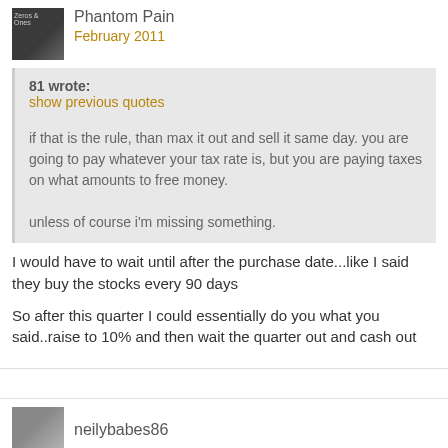Phantom Pain
February 2011
81 wrote:
show previous quotes
if that is the rule, than max it out and sell it same day. you are going to pay whatever your tax rate is, but you are paying taxes on what amounts to free money.

unless of course i'm missing something.
I would have to wait until after the purchase date...like I said they buy the stocks every 90 days

So after this quarter I could essentially do you what you said..raise to 10% and then wait the quarter out and cash out
neilybabes86